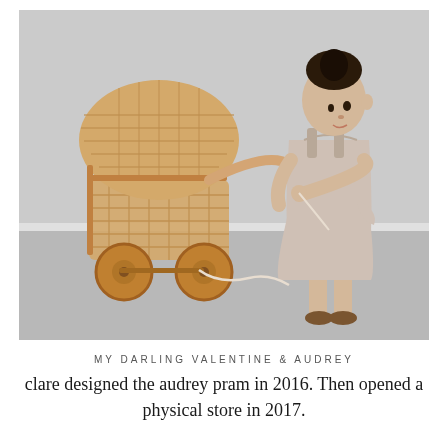[Figure (photo): A young toddler girl wearing a light linen dress and brown shoes stands beside a wicker/rattan doll pram (baby carriage) with wooden wheels. The pram has a woven canopy hood. The girl holds the handle with a ribbon/string. Background is a plain light grey room with white baseboard. The scene is styled minimalist and Scandinavian.]
MY DARLING VALENTINE & AUDREY
clare designed the audrey pram in 2016. Then opened a physical store in 2017.